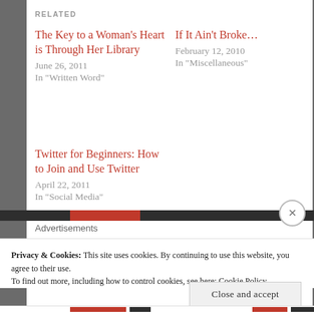RELATED
The Key to a Woman's Heart is Through Her Library
June 26, 2011
In "Written Word"
If It Ain't Broke…
February 12, 2010
In "Miscellaneous"
Twitter for Beginners: How to Join and Use Twitter
April 22, 2011
In "Social Media"
Advertisements
Privacy & Cookies: This site uses cookies. By continuing to use this website, you agree to their use.
To find out more, including how to control cookies, see here: Cookie Policy
Close and accept